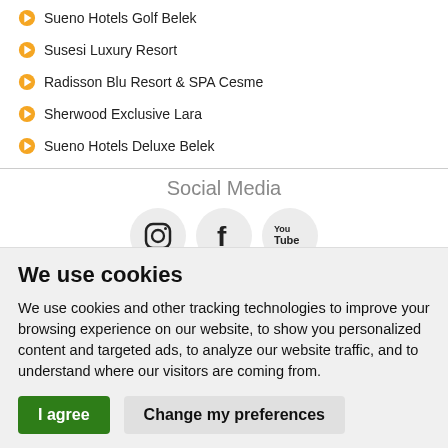Sueno Hotels Golf Belek
Susesi Luxury Resort
Radisson Blu Resort & SPA Cesme
Sherwood Exclusive Lara
Sueno Hotels Deluxe Belek
Social Media
[Figure (illustration): Social media icons: Instagram, Facebook, YouTube circles, plus globe and certification badge icons]
We use cookies
We use cookies and other tracking technologies to improve your browsing experience on our website, to show you personalized content and targeted ads, to analyze our website traffic, and to understand where our visitors are coming from.
I agree   Change my preferences